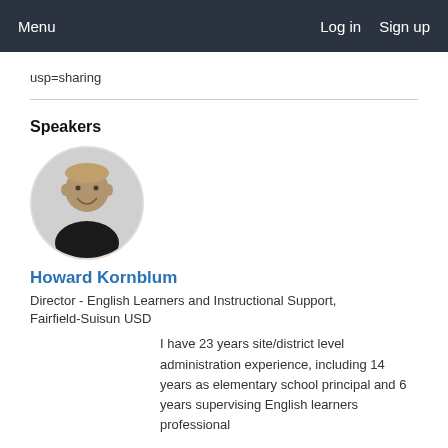Menu   Log in   Sign up
usp=sharing
Speakers
[Figure (photo): Circular headshot photo of Howard Kornblum, a middle-aged man smiling, wearing a black shirt, with a blurred background.]
Howard Kornblum
Director - English Learners and Instructional Support, Fairfield-Suisun USD
I have 23 years site/district level administration experience, including 14 years as elementary school principal and 6 years supervising English learners professional